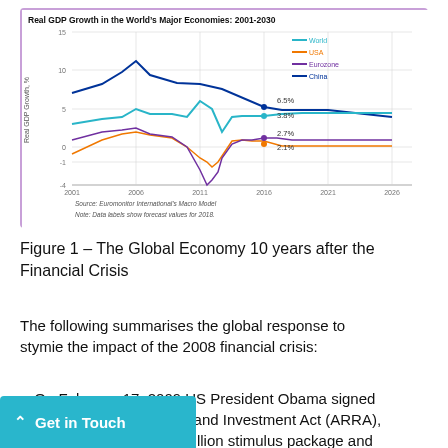[Figure (line-chart): Real GDP Growth in the World's Major Economies: 2001-2030]
Figure 1 – The Global Economy 10 years after the Financial Crisis
The following summarises the global response to stymie the impact of the 2008 financial crisis:
On February 17, 2009 US President Obama signed the American Recovery and Investment Act (ARRA), which was a USD 787 billion stimulus package and